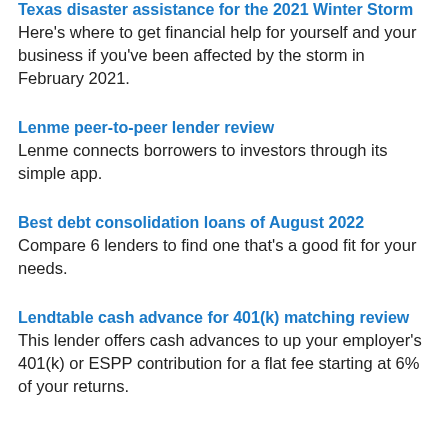Texas disaster assistance for the 2021 Winter Storm
Here's where to get financial help for yourself and your business if you've been affected by the storm in February 2021.
Lenme peer-to-peer lender review
Lenme connects borrowers to investors through its simple app.
Best debt consolidation loans of August 2022
Compare 6 lenders to find one that's a good fit for your needs.
Lendtable cash advance for 401(k) matching review
This lender offers cash advances to up your employer's 401(k) or ESPP contribution for a flat fee starting at 6% of your returns.